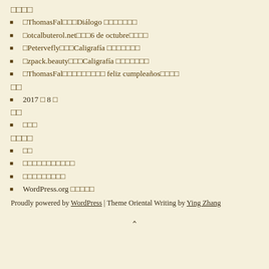□□□□
□ThomasFal□□□Diálogo □□□□□□□
□otcalbuterol.net□□□6 de octubre□□□□
□Petervefly□□□Caligrafía □□□□□□□
□zpack.beauty□□□Caligrafía □□□□□□□
□ThomasFal□□□□□□□□□ feliz cumpleaños□□□□
□□
2017 □ 8 □
□□
□□□
□□□□
□□
□□□□□□□□□□□
□□□□□□□□□
WordPress.org □□□□□
Proudly powered by WordPress | Theme Oriental Writing by Ying Zhang